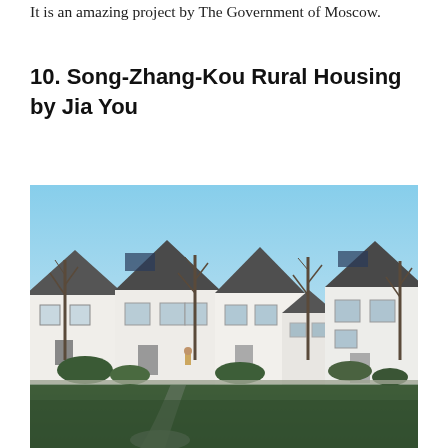It is an amazing project by The Government of Moscow.
10. Song-Zhang-Kou Rural Housing by Jia You
[Figure (photo): Exterior photograph of Song-Zhang-Kou rural housing development showing a row of white two-story houses with dark grey sloping roofs, bare winter trees lining a curved pathway, green landscaping in the foreground, and a clear blue sky in the background.]